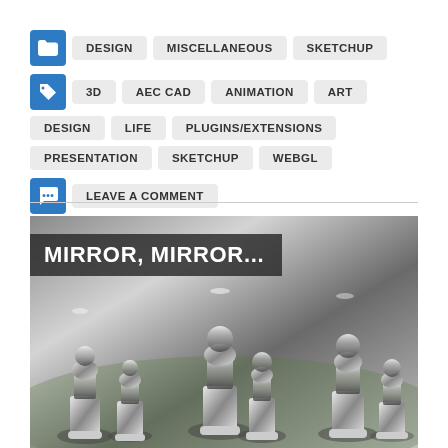DESIGN  MISCELLANEOUS  SKETCHUP
3D  AEC CAD  ANIMATION  ART  DESIGN  LIFE  PLUGINS/EXTENSIONS  PRESENTATION  SKETCHUP  WEBGL
LEAVE A COMMENT
[Figure (photo): Chrome/mirror reflective chess pieces arranged on a board, photographed close up. Overlaid text reads MIRROR, MIRROR...]